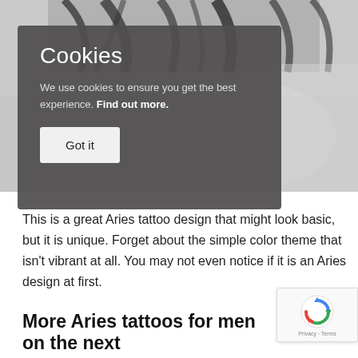[Figure (photo): Black and white close-up photo of a person's face/head with dark hair, partially obscured by a cookie consent overlay]
Cookies
We use cookies to ensure you get the best experience. Find out more.
This is a great Aries tattoo design that might look basic, but it is unique. Forget about the simple color theme that isn't vibrant at all. You may not even notice if it is an Aries design at first.
More Aries tattoos for men on the next